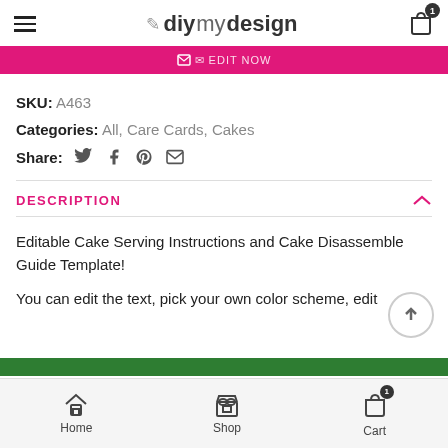diymydesign — Cart 1
[Figure (other): Pink promotional banner with envelope icon and partial text]
SKU: A463
Categories: All, Care Cards, Cakes
Share: [Twitter] [Facebook] [Pinterest] [Email]
DESCRIPTION
Editable Cake Serving Instructions and Cake Disassemble Guide Template!
You can edit the text, pick your own color scheme, edit
Home  Shop  Cart 1